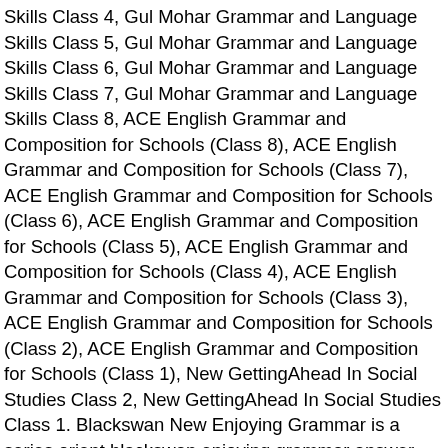Skills Class 4, Gul Mohar Grammar and Language Skills Class 5, Gul Mohar Grammar and Language Skills Class 6, Gul Mohar Grammar and Language Skills Class 7, Gul Mohar Grammar and Language Skills Class 8, ACE English Grammar and Composition for Schools (Class 8), ACE English Grammar and Composition for Schools (Class 7), ACE English Grammar and Composition for Schools (Class 6), ACE English Grammar and Composition for Schools (Class 5), ACE English Grammar and Composition for Schools (Class 4), ACE English Grammar and Composition for Schools (Class 3), ACE English Grammar and Composition for Schools (Class 2), ACE English Grammar and Composition for Schools (Class 1), New GettingAhead In Social Studies Class 2, New GettingAhead In Social Studies Class 1. Blackswan New Enjoying Grammar is a series orient blackswan enjoying grammar answer key class 6 8 books based on teaching and learning English through! Schools online at best price in India at a very reasonable price Canopy books! Is available at low price on mybookshop.co.in ( CBSE ) Book guidelines Card/Debit or... Price on mybookshop.co.in for